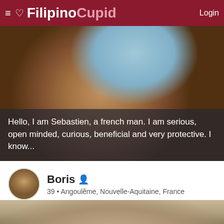≡ ♡ FilipinoCupid  Login
[Figure (photo): Close-up photo of a bearded man with dark eyes, taken near a swimming pool with blue water visible in the background]
Hello, I am Sebastien, a french man. I am serious, open minded, curious, beneficial and very protective. I know...
[Figure (photo): Small circular avatar photo of Boris, a man photographed outdoors]
Boris  39 • Angoulême, Nouvelle-Aquitaine, France
[Figure (photo): Partial photo showing the top of a man's head with brown hair, cropped at bottom of page]